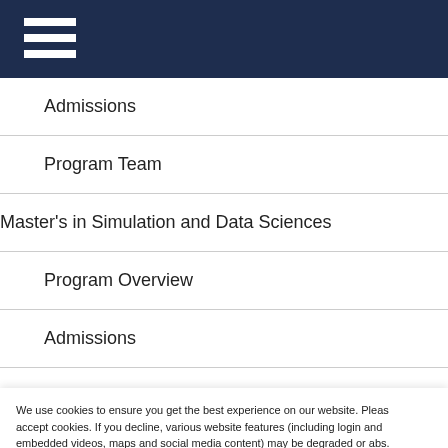[Figure (other): Dark navy header bar with hamburger menu icon (three white horizontal lines)]
Admissions
Program Team
Master's in Simulation and Data Sciences
Program Overview
Admissions
Program Team
We use cookies to ensure you get the best experience on our website. Please accept cookies. If you decline, various website features (including login and embedded videos, maps and social media content) may be degraded or absent. You can change your cookie preferences at any time using the ribbon at the bottom of each web page.
View our Cookie Policy | Accept Cookies | Decline Cookies